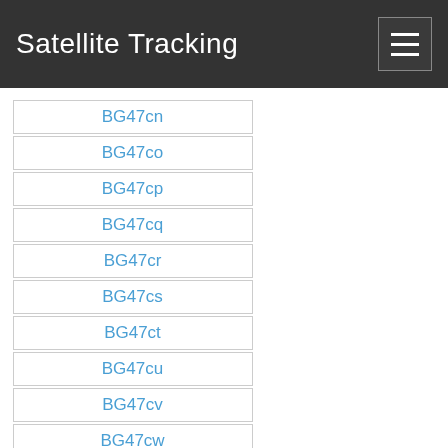Satellite Tracking
BG47cn
BG47co
BG47cp
BG47cq
BG47cr
BG47cs
BG47ct
BG47cu
BG47cv
BG47cw
BG47cx
BG47da
BG47db
BG47dc
BG47dd
BG47de
BG47df
BG47dg